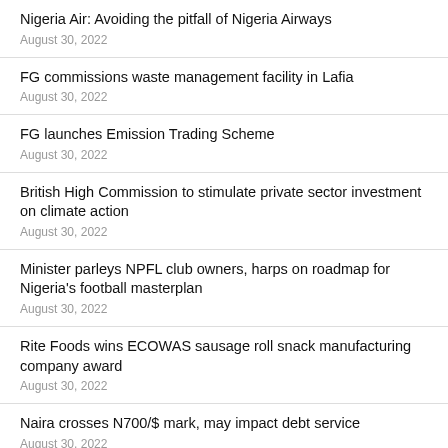Nigeria Air: Avoiding the pitfall of Nigeria Airways
August 30, 2022
FG commissions waste management facility in Lafia
August 30, 2022
FG launches Emission Trading Scheme
August 30, 2022
British High Commission to stimulate private sector investment on climate action
August 30, 2022
Minister parleys NPFL club owners, harps on roadmap for Nigeria's football masterplan
August 30, 2022
Rite Foods wins ECOWAS sausage roll snack manufacturing company award
August 30, 2022
Naira crosses N700/$ mark, may impact debt service
August 30, 2022